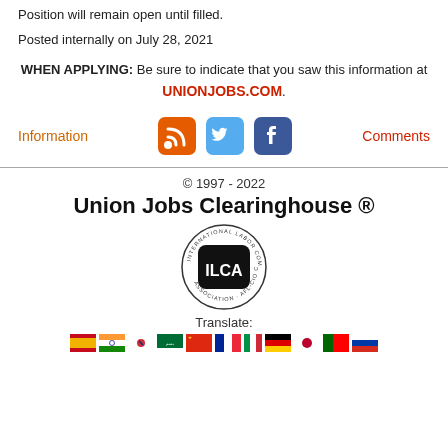Position will remain open until filled.
Posted internally on July 28, 2021
WHEN APPLYING: Be sure to indicate that you saw this information at UNIONJOBS.COM.
[Figure (infographic): Social media icons: RSS feed (orange), Twitter (blue), Facebook (blue square), with Information and Comments links]
© 1997 - 2022 Union Jobs Clearinghouse ® — ILCA logo — Translate: flags for multiple languages